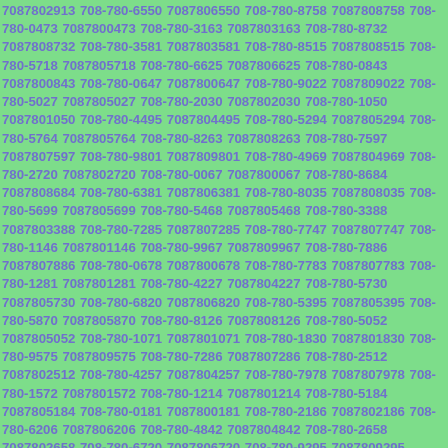7087802913 708-780-6550 7087806550 708-780-8758 7087808758 708-780-0473 7087800473 708-780-3163 7087803163 708-780-8732 7087808732 708-780-3581 7087803581 708-780-8515 7087808515 708-780-5718 7087805718 708-780-6625 7087806625 708-780-0843 7087800843 708-780-0647 7087800647 708-780-9022 7087809022 708-780-5027 7087805027 708-780-2030 7087802030 708-780-1050 7087801050 708-780-4495 7087804495 708-780-5294 7087805294 708-780-5764 7087805764 708-780-8263 7087808263 708-780-7597 7087807597 708-780-9801 7087809801 708-780-4969 7087804969 708-780-2720 7087802720 708-780-0067 7087800067 708-780-8684 7087808684 708-780-6381 7087806381 708-780-8035 7087808035 708-780-5699 7087805699 708-780-5468 7087805468 708-780-3388 7087803388 708-780-7285 7087807285 708-780-7747 7087807747 708-780-1146 7087801146 708-780-9967 7087809967 708-780-7886 7087807886 708-780-0678 7087800678 708-780-7783 7087807783 708-780-1281 7087801281 708-780-4227 7087804227 708-780-5730 7087805730 708-780-6820 7087806820 708-780-5395 7087805395 708-780-5870 7087805870 708-780-8126 7087808126 708-780-5052 7087805052 708-780-1071 7087801071 708-780-1830 7087801830 708-780-9575 7087809575 708-780-7286 7087807286 708-780-2512 7087802512 708-780-4257 7087804257 708-780-7978 7087807978 708-780-1572 7087801572 708-780-1214 7087801214 708-780-5184 7087805184 708-780-0181 7087800181 708-780-2186 7087802186 708-780-6206 7087806206 708-780-4842 7087804842 708-780-2658 7087802658 708-780-6720 7087806720 708-780-9295 7087809295